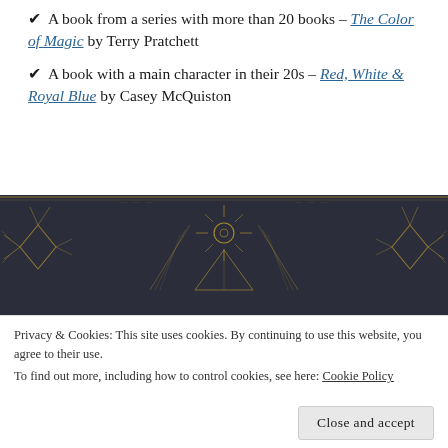✔ A book from a series with more than 20 books – The Color of Magic by Terry Pratchett
✔ A book with a main character in their 20s – Red, White & Royal Blue by Casey McQuiston
[Figure (illustration): Dark navy background decorative banner with gold geometric line art: diamonds, triangles, a starburst sun symbol in the center, and branch-like ornamental designs in the corners]
Privacy & Cookies: This site uses cookies. By continuing to use this website, you agree to their use.
To find out more, including how to control cookies, see here: Cookie Policy
Close and accept